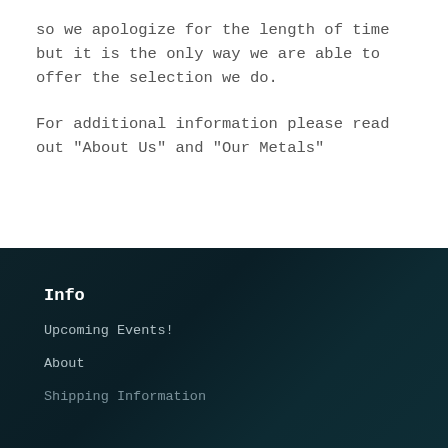so we apologize for the length of time but it is the only way we are able to offer the selection we do.
For additional information please read out "About Us" and "Our Metals"
Info
Upcoming Events!
About
Shipping Information